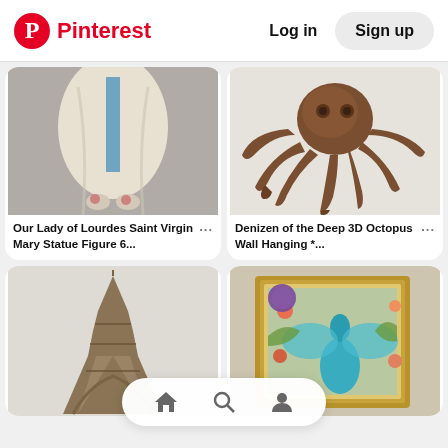Pinterest  Log in  Sign up
[Figure (photo): Our Lady of Lourdes Saint Virgin Mary statue figure - lower half showing white robe with blue sash, pink flowers at feet, gray background]
Our Lady of Lourdes Saint Virgin Mary Statue Figure 6...
[Figure (photo): Denizen of the Deep 3D Octopus Wall Hanging - bronze/copper colored decorative octopus on white background]
Denizen of the Deep 3D Octopus Wall Hanging *...
[Figure (photo): Bronze/gold colored Eiffel Tower miniature figurine on light background]
[Figure (photo): Colorful peacock 3D wall art in ornate gold frame, teal peacock with floral decorations, purple circular logo/badge in upper left corner]